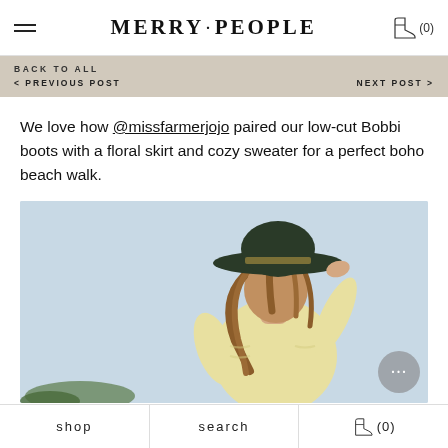MERRY·PEOPLE  (0)
BACK TO ALL
< PREVIOUS POST
NEXT POST >
We love how @missfarmerjojo paired our low-cut Bobbi boots with a floral skirt and cozy sweater for a perfect boho beach walk.
[Figure (photo): Woman wearing a wide-brim dark hat and a pale yellow cozy sweater, outdoors with light blue sky background, holding her hat with one hand.]
shop  search  (0)